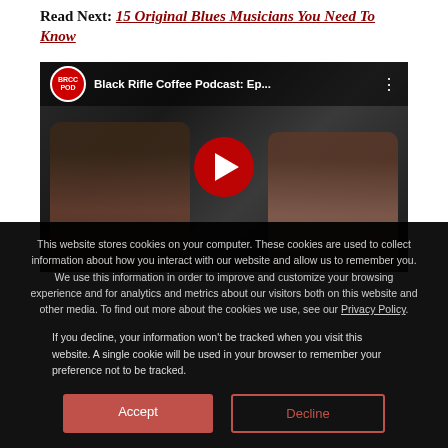Read Next: 15 Original Blues Musicians You Need To Know
[Figure (screenshot): YouTube video thumbnail showing two men at a podcast table with microphones. Video title reads 'Black Rifle Coffee Podcast: Ep...' with a red play button in the center.]
This website stores cookies on your computer. These cookies are used to collect information about how you interact with our website and allow us to remember you. We use this information in order to improve and customize your browsing experience and for analytics and metrics about our visitors both on this website and other media. To find out more about the cookies we use, see our Privacy Policy.
If you decline, your information won't be tracked when you visit this website. A single cookie will be used in your browser to remember your preference not to be tracked.
Accept
Decline